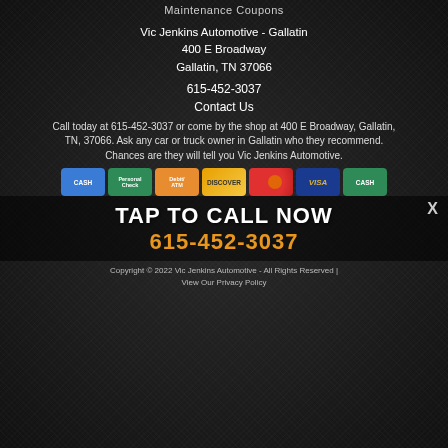Maintenance Coupons
Vic Jenkins Automotive - Gallatin
400 E Broadway
Gallatin, TN 37066
615-452-3037
Contact Us
Call today at 615-452-3037 or come by the shop at 400 E Broadway, Gallatin, TN, 37066. Ask any car or truck owner in Gallatin who they recommend. Chances are they will tell you Vic Jenkins Automotive.
[Figure (infographic): Row of payment method icons: CASH, Personal Check, Debit/ATM, Discover, Mastercard, Visa, CASH]
TAP TO CALL NOW
615-452-3037
Copyright © 2022 Vic Jenkins Automotive - All Rights Reserved | View Our Privacy Policy